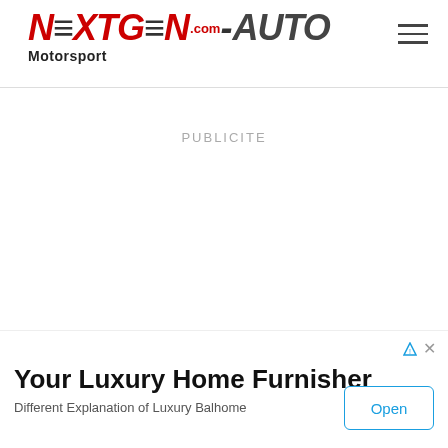[Figure (logo): NextGen-Auto.com Motorsport logo with red stylized text for NEXTGEN and dark text for AUTO, with .com superscript in red]
PUBLICITE
[Figure (other): Dropdown chevron tab at bottom left of main content area]
Your Luxury Home Furnisher
Different Explanation of Luxury Balhome